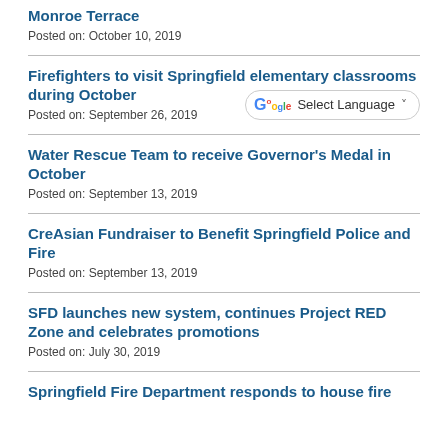Monroe Terrace
Posted on: October 10, 2019
Firefighters to visit Springfield elementary classrooms during October
Posted on: September 26, 2019
[Figure (other): Google Translate Select Language widget with Google G logo and dropdown arrow]
Water Rescue Team to receive Governor's Medal in October
Posted on: September 13, 2019
CreAsian Fundraiser to Benefit Springfield Police and Fire
Posted on: September 13, 2019
SFD launches new system, continues Project RED Zone and celebrates promotions
Posted on: July 30, 2019
Springfield Fire Department responds to house fire